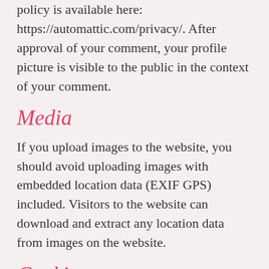policy is available here: https://automattic.com/privacy/. After approval of your comment, your profile picture is visible to the public in the context of your comment.
Media
If you upload images to the website, you should avoid uploading images with embedded location data (EXIF GPS) included. Visitors to the website can download and extract any location data from images on the website.
Cookies